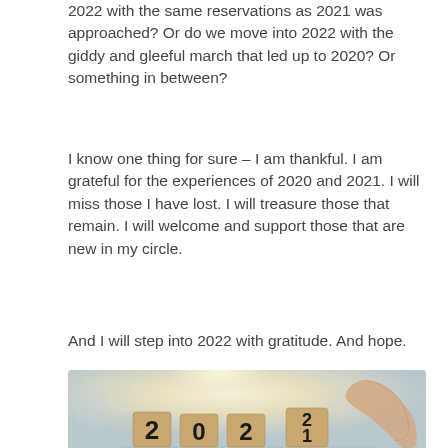2022 with the same reservations as 2021 was approached? Or do we move into 2022 with the giddy and gleeful march that led up to 2020? Or something in between?
I know one thing for sure – I am thankful. I am grateful for the experiences of 2020 and 2021. I will miss those I have lost. I will treasure those that remain. I will welcome and support those that are new in my circle.
And I will step into 2022 with gratitude. And hope.
[Figure (photo): Photo of wooden blocks spelling out 2021, with a hand placing a block showing '2', suggesting transition to 2022. Warm glowing light in background.]